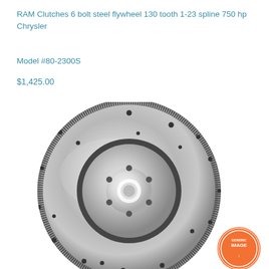RAM Clutches 6 bolt steel flywheel 130 tooth 1-23 spline 750 hp Chrysler
Model #80-2300S
$1,425.00
[Figure (photo): A polished steel flywheel with ring gear teeth around the outer edge, multiple bolt holes, and a center hub opening. A circular raised boss is visible in the center area. A 'GENERIC IMAGE' stamp badge appears in the lower right corner.]